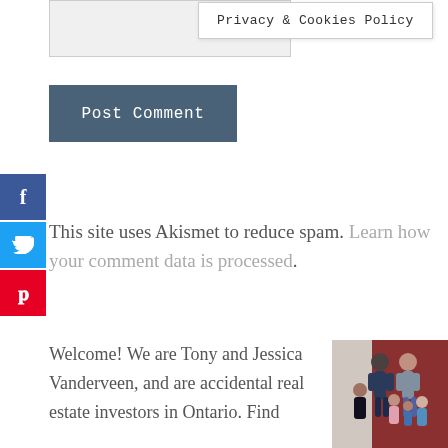[Figure (screenshot): Input field area (grayed out form element)]
Privacy & Cookies Policy
[Figure (screenshot): Post Comment button, dark blue-gray background with white text]
[Figure (infographic): Social media sidebar with Facebook (blue), Twitter (light blue), and Pinterest (red) icons]
This site uses Akismet to reduce spam. Learn how your comment data is processed.
Welcome! We are Tony and Jessica Vanderveen, and are accidental real estate investors in Ontario. Find
[Figure (photo): Family photo of Tony and Jessica Vanderveen with their children, standing in front of a red barn door]